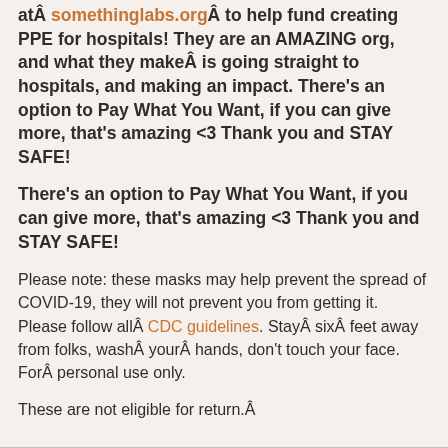atÂ somethinglabs.orgÂ to help fund creating PPE for hospitals! They are an AMAZING org, and what they makeÂ is going straight to hospitals, and making an impact. There's an option to Pay What You Want, if you can give more, that's amazing <3 Thank you and STAY SAFE!
There's an option to Pay What You Want, if you can give more, that's amazing <3 Thank you and STAY SAFE!
Please note: these masks may help prevent the spread of COVID-19, they will not prevent you from getting it. Please follow allÂ CDC guidelines. StayÂ sixÂ feet away from folks, washÂ yourÂ hands, don't touch your face. ForÂ personal use only.
These are not eligible for return.Â